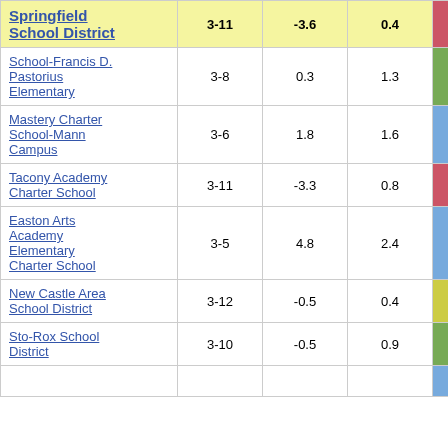| School/District | Grades | Col3 | Col4 | Score |
| --- | --- | --- | --- | --- |
| Springfield School District | 3-11 | -3.6 | 0.4 | -10.34 |
| School-Francis D. Pastorius Elementary | 3-8 | 0.3 | 1.3 | 0.24 |
| Mastery Charter School-Mann Campus | 3-6 | 1.8 | 1.6 | 1.13 |
| Tacony Academy Charter School | 3-11 | -3.3 | 0.8 | -4.26 |
| Easton Arts Academy Elementary Charter School | 3-5 | 4.8 | 2.4 | 1.94 |
| New Castle Area School District | 3-12 | -0.5 | 0.4 | -1.11 |
| Sto-Rox School District | 3-10 | -0.5 | 0.9 | -0.51 |